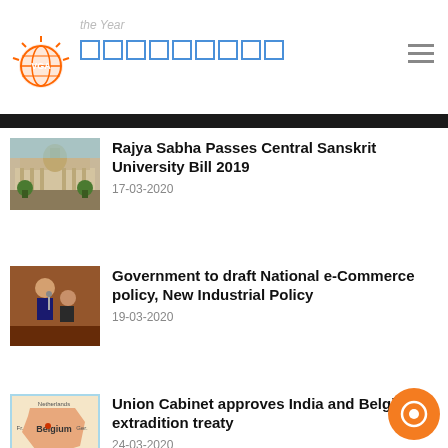VGA [logo] [navigation]
Rajya Sabha Passes Central Sanskrit University Bill 2019
17-03-2020
Government to draft National e-Commerce policy, New Industrial Policy
19-03-2020
Union Cabinet approves India and Belgium extradition treaty
24-03-2020